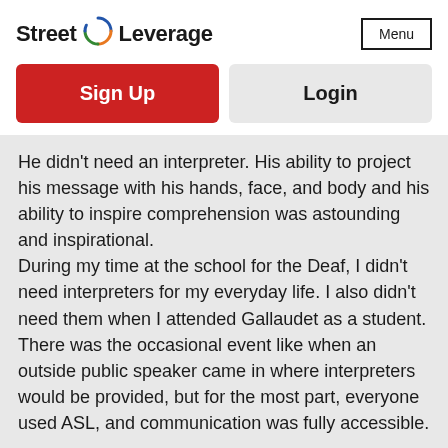Street Leverage
Sign Up
Login
He didn't need an interpreter. His ability to project his message with his hands, face, and body and his ability to inspire comprehension was astounding and inspirational.
During my time at the school for the Deaf, I didn't need interpreters for my everyday life. I also didn't need them when I attended Gallaudet as a student. There was the occasional event like when an outside public speaker came in where interpreters would be provided, but for the most part, everyone used ASL, and communication was fully accessible.